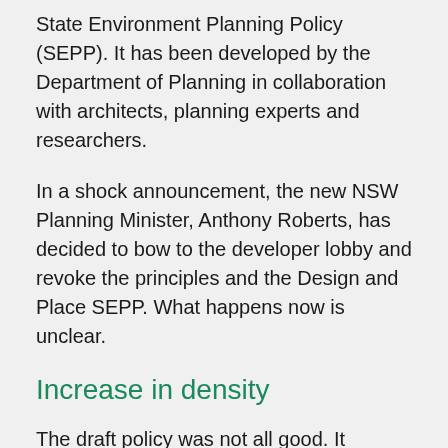State Environment Planning Policy (SEPP). It has been developed by the Department of Planning in collaboration with architects, planning experts and researchers.
In a shock announcement, the new NSW Planning Minister, Anthony Roberts, has decided to bow to the developer lobby and revoke the principles and the Design and Place SEPP. What happens now is unclear.
Increase in density
The draft policy was not all good. It included an Urban Design Guide that established objectives for quality urban spaces. It was intended to advise applicants and their design teams, who prepare development proposals, on expectations and to